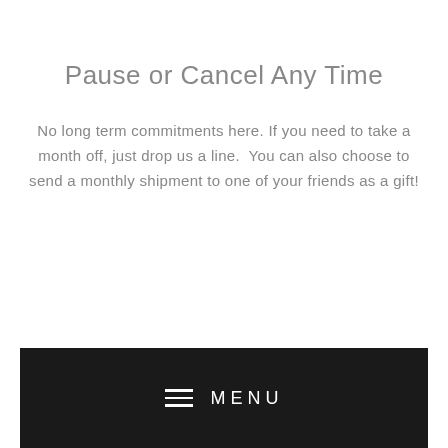Pause or Cancel Any Time
No long term commitments here. If you need to take a month off, just drop us a line.  You can also choose to send a monthly shipment to one of your friends as a gift!
≡ MENU